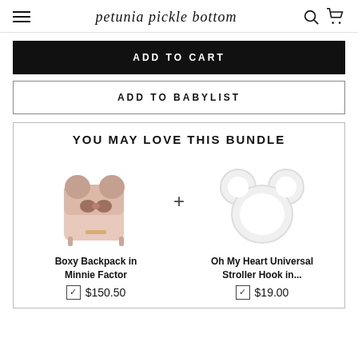petunia pickle bottom
ADD TO CART
ADD TO BABYLIST
YOU MAY LOVE THIS BUNDLE
[Figure (photo): Boxy Backpack in Minnie Factor product photo - pink mini backpack with Mickey Mouse ears and bow]
Boxy Backpack in Minnie Factor
$150.50
[Figure (photo): Oh My Heart Universal Stroller Hook product photo - white silicone Mickey Mouse shaped hook]
Oh My Heart Universal Stroller Hook in...
$19.00